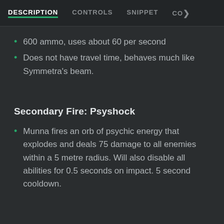DESCRIPTION | CONTROLS | SNIPPET | CO>
600 ammo, uses about 60 per second
Does not have travel time, behaves much like Symmetra's beam.
Secondary Fire: Psyshock
Munna fires an orb of psychic energy that explodes and deals 75 damage to all enemies within a 5 metre radius. Will also disable all abilities for 0.5 seconds on impact. 5 second cooldown.
Ability 1: Moonlight